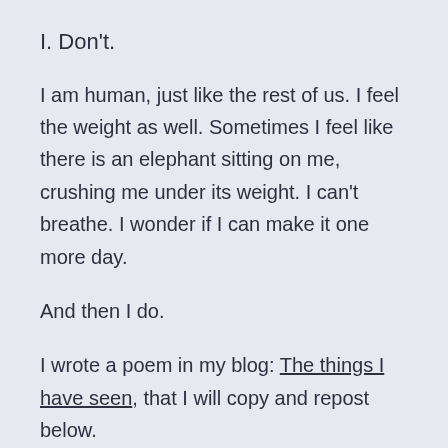I. Don't.
I am human, just like the rest of us. I feel the weight as well. Sometimes I feel like there is an elephant sitting on me, crushing me under its weight. I can't breathe. I wonder if I can make it one more day.
And then I do.
I wrote a poem in my blog: The things I have seen, that I will copy and repost below.